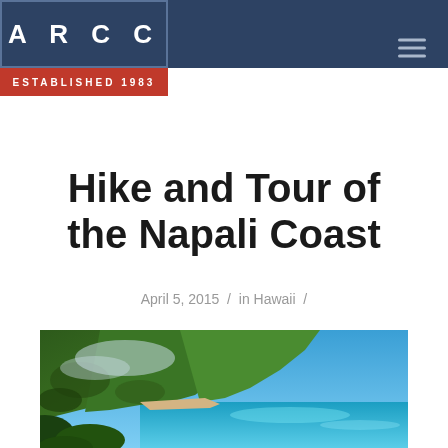ARCC  ESTABLISHED 1983
Hike and Tour of the Napali Coast
April 5, 2015 / in Hawaii /
[Figure (photo): Aerial or elevated view of the Napali Coast in Hawaii, showing dramatic green cliffs, a sandy beach, turquoise ocean water, and a partly cloudy blue sky]